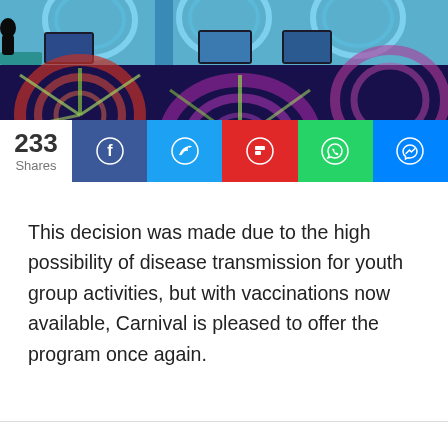[Figure (photo): Interior of a cruise ship children's area with colorful screens/pods visible in the upper portion and a colorful patterned carpet with swirling designs in the lower portion]
233 Shares
[Figure (infographic): Social media share bar with Facebook, Twitter, Flipboard, WhatsApp, and Messenger icons]
This decision was made due to the high possibility of disease transmission for youth group activities, but with vaccinations now available, Carnival is pleased to offer the program once again.